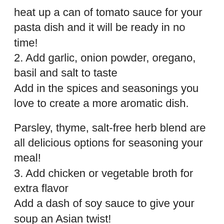heat up a can of tomato sauce for your pasta dish and it will be ready in no time!
2. Add garlic, onion powder, oregano, basil and salt to taste
Add in the spices and seasonings you love to create a more aromatic dish.
Parsley, thyme, salt-free herb blend are all delicious options for seasoning your meal!
3. Add chicken or vegetable broth for extra flavor
Add a dash of soy sauce to give your soup an Asian twist!
4. Cook over medium-high heat until it reaches desired consistency (about 5 minutes)
Resist the urge to stir your sauce, instead let it simmer until it reaches a smooth consistency.
5. Let cool before using as pizza sauce in your favorite recipe!